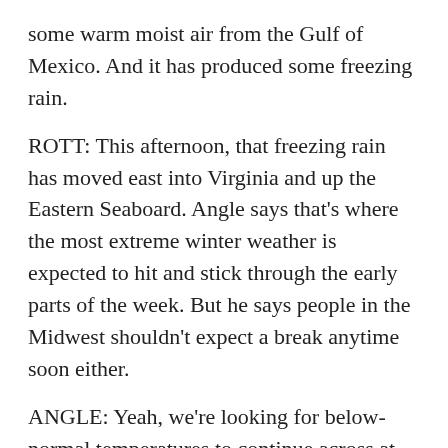some warm moist air from the Gulf of Mexico. And it has produced some freezing rain.
ROTT: This afternoon, that freezing rain has moved east into Virginia and up the Eastern Seaboard. Angle says that's where the most extreme winter weather is expected to hit and stick through the early parts of the week. But he says people in the Midwest shouldn't expect a break anytime soon either.
ANGLE: Yeah, we're looking for below-normal temperatures to continue across at least the central portion of the country at least until December the 18th.
ROTT: So his advice? Bundle up. Nathan Rott, NPR News.
Copyright © 2013 NPR. All rights reserved. Visit our website terms of use and permissions pages at www.npr.org for further information.